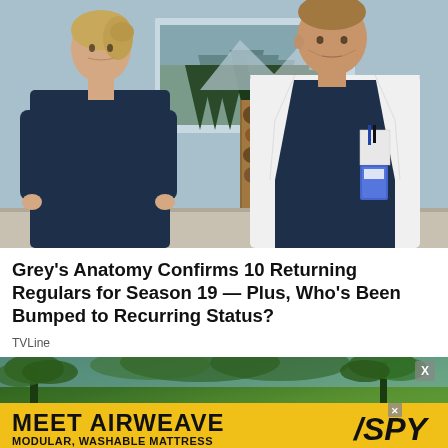[Figure (photo): Two Grey's Anatomy cast members standing in a hospital setting. Left: a woman with blonde hair pulled back, wearing navy blue scrubs, looking concerned. Right: a man in a white doctor's coat over navy scrubs, with an ID badge, looking serious. Background features a painting of trees and a blue-grey wall.]
Grey's Anatomy Confirms 10 Returning Regulars for Season 19 — Plus, Who's Been Bumped to Recurring Status?
TVLine
[Figure (photo): Advertisement banner. Top portion shows a tropical outdoor photo with palm trees and lush greenery. Bottom yellow strip shows 'MEET AIRWEAVE' in large bold text with 'MODULAR, WASHABLE MATTRESS' below, alongside SPY logo with a slash graphic. A close X button appears in the upper right.]